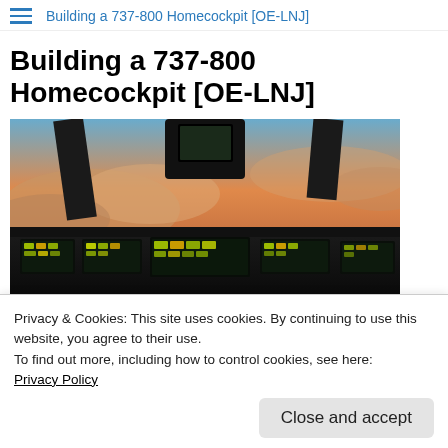Building a 737-800 Homecockpit [OE-LNJ]
Building a 737-800 Homecockpit [OE-LNJ]
[Figure (photo): Cockpit view of a 737-800 flight simulator showing instrument panels with illuminated displays and a dramatic sky with clouds visible through the windshield]
Contains Chron...
Privacy & Cookies: This site uses cookies. By continuing to use this website, you agree to their use.
To find out more, including how to control cookies, see here:
Privacy Policy
Close and accept